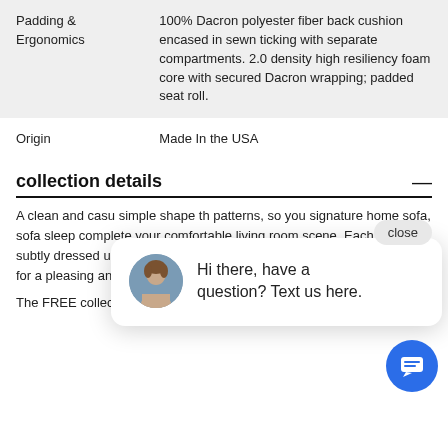| Padding &
Ergonomics | 100% Dacron polyester fiber back cushion encased in sewn ticking with separate compartments. 2.0 density high resiliency foam core with secured Dacron wrapping; padded seat roll. |
| Origin | Made In the USA |
collection details
A clean and casual look with a simple shape that works with most patterns, so you can create a signature home with your choice of sofa, sofa sleeper, and sectionals to complete your comfortable living room scene. Each piece is subtly dressed up with flared track arms, knife-edged cushions, and welt trim for a pleasing and current look.
The FREE collection is an extension if you…
[Figure (other): Chat popup with avatar photo and message: Hi there, have a question? Text us here. Close button visible. Blue circular chat FAB button at bottom right.]